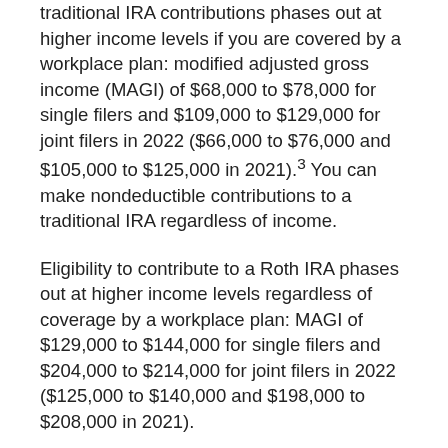traditional IRA contributions phases out at higher income levels if you are covered by a workplace plan: modified adjusted gross income (MAGI) of $68,000 to $78,000 for single filers and $109,000 to $129,000 for joint filers in 2022 ($66,000 to $76,000 and $105,000 to $125,000 in 2021).³ You can make nondeductible contributions to a traditional IRA regardless of income.
Eligibility to contribute to a Roth IRA phases out at higher income levels regardless of coverage by a workplace plan: MAGI of $129,000 to $144,000 for single filers and $204,000 to $214,000 for joint filers in 2022 ($125,000 to $140,000 and $198,000 to $208,000 in 2021).
Contributions to employer-sponsored plans and traditional IRAs are generally made on a pre-tax or tax-deductible basis and accumulate tax deferred. Distributions are taxed as ordinary income and may be subject to a 10% federal income tax penalty if withdrawing before age 59½ (with certain exceptions).